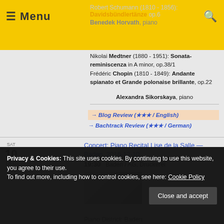Robert Schumann (1810 - 1856): Davidsbündlertänze op.6 | Menu | Benedek Horvath, piano
Nikolai Medtner (1880 - 1951): Sonata-reminiscenza in A minor, op.38/1
Frédéric Chopin (1810 - 1849): Andante spianato et Grande polonaise brillante, op.22
Alexandra Sikorskaya, piano
→ Blog Review (★★★ / English)
→ Bachtrack Review (★★★ / German)
SAT
10
DEC
2016
Concert: Piano Recital Lise de la Salle — Baden, 2016-12-10
19:30   Baden / AG, Druckerei
Privacy & Cookies: This site uses cookies. By continuing to use this website, you agree to their use.
To find out more, including how to control cookies, see here: Cookie Policy
Close and accept
Piano District: Baden